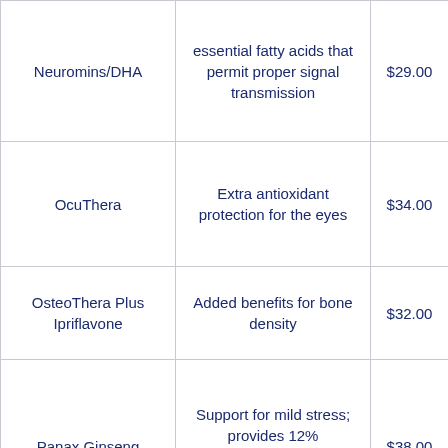| Product | Description | Price | Qty |
| --- | --- | --- | --- |
| Neuromins/DHA | essential fatty acids that permit proper signal transmission | $29.00 | 1 |
| OcuThera | Extra antioxidant protection for the eyes | $34.00 | 1 |
| OsteoThera Plus Ipriflavone | Added benefits for bone density | $32.00 | 1 |
| Panax Ginseng | Support for mild stress; provides 12% ginsenosides, the highest standardization available | $38.00 | 1 |